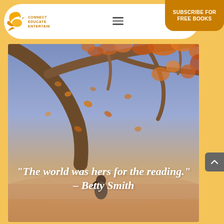[Figure (logo): Connect Educate Entertain bird/wing logo with orange text]
SUBSCRIBE FOR FREE BOOKS
[Figure (photo): Autumn scene with orange-leafed tree branches against a blue-purple sky, a girl sitting below, with white overlay quote text]
“The world was hers for the reading.” – Betty Smith